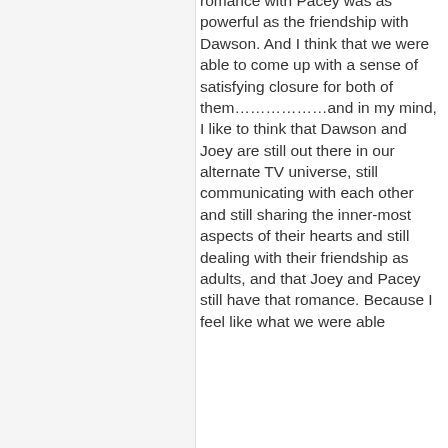romance with Pacey was as powerful as the friendship with Dawson. And I think that we were able to come up with a sense of satisfying closure for both of them………………and in my mind, I like to think that Dawson and Joey are still out there in our alternate TV universe, still communicating with each other and still sharing the inner-most aspects of their hearts and still dealing with their friendship as adults, and that Joey and Pacey still have that romance. Because I feel like what we were able